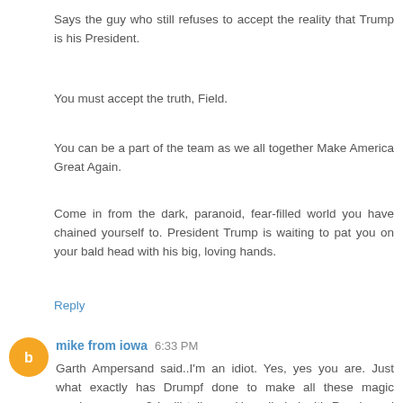Says the guy who still refuses to accept the reality that Trump is his President.
You must accept the truth, Field.
You can be a part of the team as we all together Make America Great Again.
Come in from the dark, paranoid, fear-filled world you have chained yourself to. President Trump is waiting to pat you on your bald head with his big, loving hands.
Reply
mike from iowa  6:33 PM
Garth Ampersand said..I'm an idiot. Yes, yes you are. Just what exactly has Drumpf done to make all these magic numbers appear? I will tell you. He colluded with Russia and the FBI to get appointed bogus potus and that is all he has done.